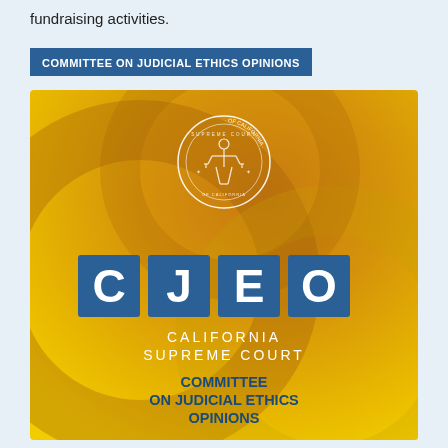fundraising activities.
COMMITTEE ON JUDICIAL ETHICS OPINIONS
[Figure (logo): CJEO logo — California Supreme Court Committee on Judicial Ethics Opinions. Square image with golden/amber gradient background with circular swirl design. Top center shows Supreme Court of California seal in white outline. Center shows large white letters C J E O each in separate blue square boxes. Below reads CALIFORNIA SUPREME COURT in white spaced capitals, then COMMITTEE ON JUDICIAL ETHICS OPINIONS in blue bold text.]